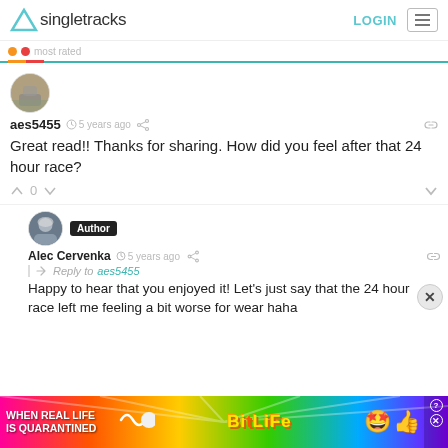Singletracks — LOGIN
aes5455  5 years ago
Great read!! Thanks for sharing. How did you feel after that 24 hour race?
0
Alec Cervenka  Author  5 years ago
Reply to aes5455
Happy to hear that you enjoyed it! Let's just say that the 24 hour race left me feeling a bit worse for wear haha
[Figure (screenshot): Advertisement banner: WHEN REAL LIFE IS QUARANTINED — BitLife game ad with rainbow background and star emoji character]